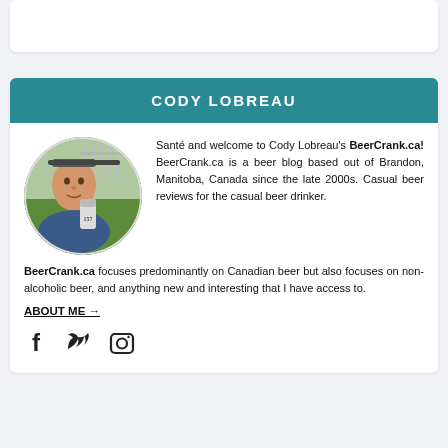CODY LOBREAU
[Figure (photo): Circular profile photo of Cody Lobreau holding a beer can, outdoors on grass]
Santé and welcome to Cody Lobreau's BeerCrank.ca! BeerCrank.ca is a beer blog based out of Brandon, Manitoba, Canada since the late 2000s. Casual beer reviews for the casual beer drinker. BeerCrank.ca focuses predominantly on Canadian beer but also focuses on non-alcoholic beer, and anything new and interesting that I have access to.
ABOUT ME →
[Figure (illustration): Social media icons: Facebook, Twitter, Instagram]